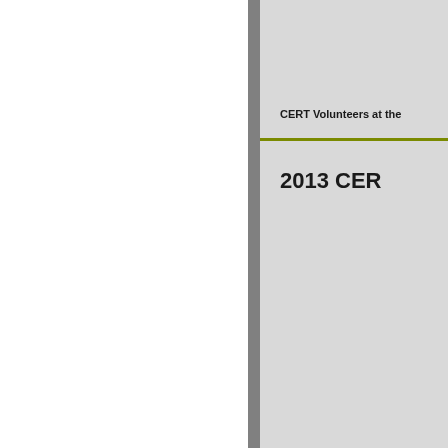CERT Volunteers at the
2013 CER